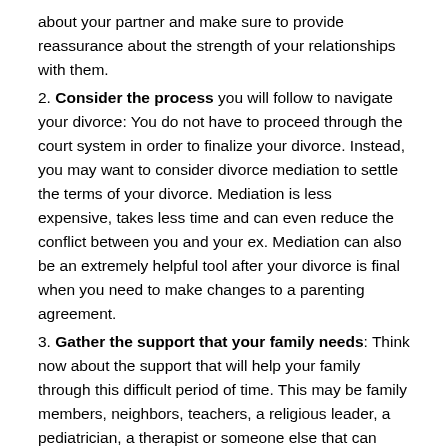about your partner and make sure to provide reassurance about the strength of your relationships with them.
2. Consider the process you will follow to navigate your divorce: You do not have to proceed through the court system in order to finalize your divorce. Instead, you may want to consider divorce mediation to settle the terms of your divorce. Mediation is less expensive, takes less time and can even reduce the conflict between you and your ex. Mediation can also be an extremely helpful tool after your divorce is final when you need to make changes to a parenting agreement.
3. Gather the support that your family needs: Think now about the support that will help your family through this difficult period of time. This may be family members, neighbors, teachers, a religious leader, a pediatrician, a therapist or someone else that can provide strong support for you, your ex and/or your kids.
4. Allow your kids to make some of the decisions: Of